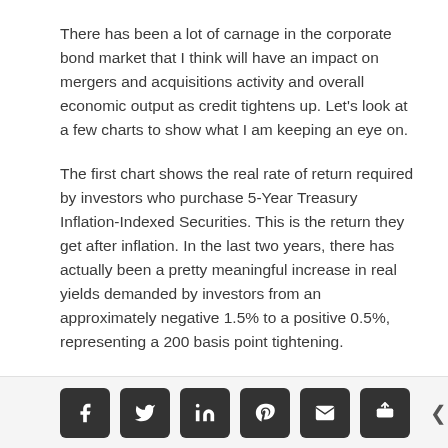There has been a lot of carnage in the corporate bond market that I think will have an impact on mergers and acquisitions activity and overall economic output as credit tightens up. Let's look at a few charts to show what I am keeping an eye on.
The first chart shows the real rate of return required by investors who purchase 5-Year Treasury Inflation-Indexed Securities. This is the return they get after inflation. In the last two years, there has actually been a pretty meaningful increase in real yields demanded by investors from an approximately negative 1.5% to a positive 0.5%, representing a 200 basis point tightening.
97 SHARES